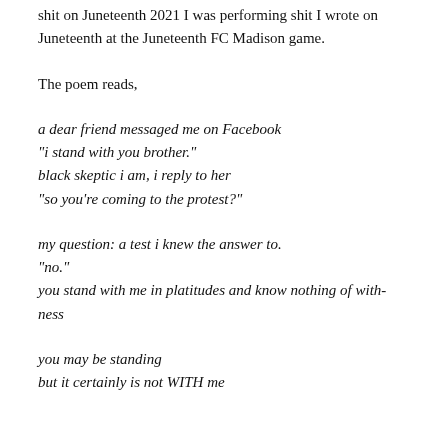shit on Juneteenth 2021 I was performing shit I wrote on Juneteenth at the Juneteenth FC Madison game.
The poem reads,
a dear friend messaged me on Facebook
"i stand with you brother."
black skeptic i am, i reply to her
"so you're coming to the protest?"
my question: a test i knew the answer to.
"no."
you stand with me in platitudes and know nothing of with-ness
you may be standing
but it certainly is not WITH me